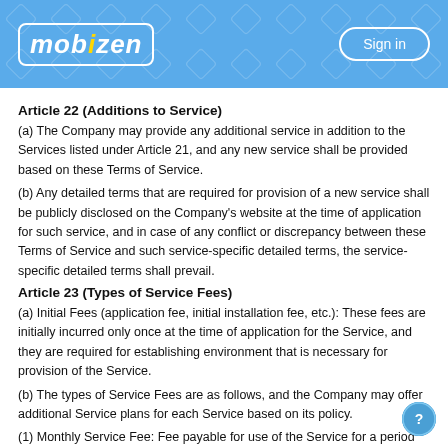Mobizen | Sign in
Article 22 (Additions to Service)
(a) The Company may provide any additional service in addition to the Services listed under Article 21, and any new service shall be provided based on these Terms of Service.
(b) Any detailed terms that are required for provision of a new service shall be publicly disclosed on the Company’s website at the time of application for such service, and in case of any conflict or discrepancy between these Terms of Service and such service-specific detailed terms, the service-specific detailed terms shall prevail.
Article 23 (Types of Service Fees)
(a) Initial Fees (application fee, initial installation fee, etc.): These fees are initially incurred only once at the time of application for the Service, and they are required for establishing environment that is necessary for provision of the Service.
(b) The types of Service Fees are as follows, and the Company may offer additional Service plans for each Service based on its policy.
(1) Monthly Service Fee: Fee payable for use of the Service for a period